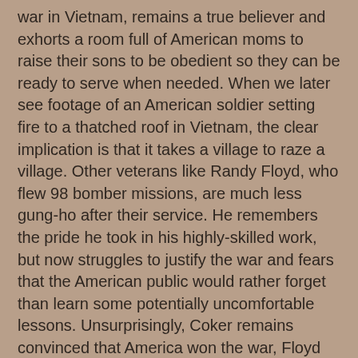war in Vietnam, remains a true believer and exhorts a room full of American moms to raise their sons to be obedient so they can be ready to serve when needed. When we later see footage of an American soldier setting fire to a thatched roof in Vietnam, the clear implication is that it takes a village to raze a village. Other veterans like Randy Floyd, who flew 98 bomber missions, are much less gung-ho after their service. He remembers the pride he took in his highly-skilled work, but now struggles to justify the war and fears that the American public would rather forget than learn some potentially uncomfortable lessons. Unsurprisingly, Coker remains convinced that America won the war, Floyd and others are more dubious.
A particularly dispiriting montage features a relentless parade of American presidents assuring the public that we have a vital national interest in Southeast Asia, though Eisenhower is the only one who inadvertently slips in an honest explanation not couched in fear-mongering or jingoism, noting that we can't risk losing a reliably cheap supply of tin and tungsten. Davis, like any documentarian, selects his subjects carefully and employs editing as a